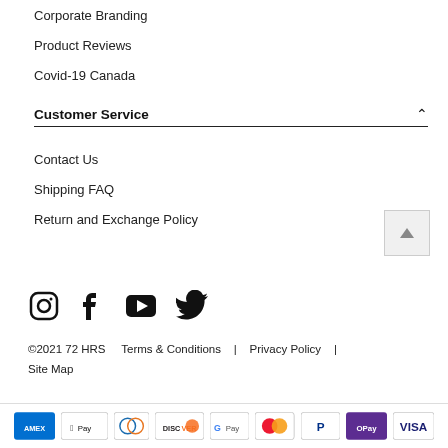Corporate Branding
Product Reviews
Covid-19 Canada
Customer Service
Contact Us
Shipping FAQ
Return and Exchange Policy
[Figure (illustration): Social media icons: Instagram, Facebook, YouTube, Twitter]
©2021 72 HRS   Terms & Conditions  |  Privacy Policy  |  Site Map
[Figure (illustration): Payment method logos: Amex, Apple Pay, Diners Club, Discover, Google Pay, Mastercard, PayPal, OPay, Visa]